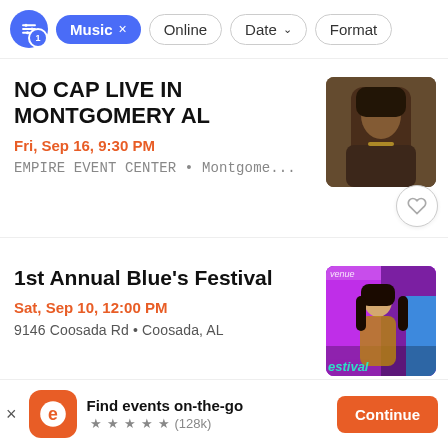Music × | Online | Date ↓ | Format
NO CAP LIVE IN MONTGOMERY AL
Fri, Sep 16, 9:30 PM
EMPIRE EVENT CENTER • Montgome...
[Figure (photo): Photo of rapper No Cap]
1st Annual Blue's Festival
Sat, Sep 10, 12:00 PM
9146 Coosada Rd • Coosada, AL
[Figure (photo): Festival promotional image with woman singer against colorful background with 'Festival' text]
Find events on-the-go ★★★★★ (128k)
Continue